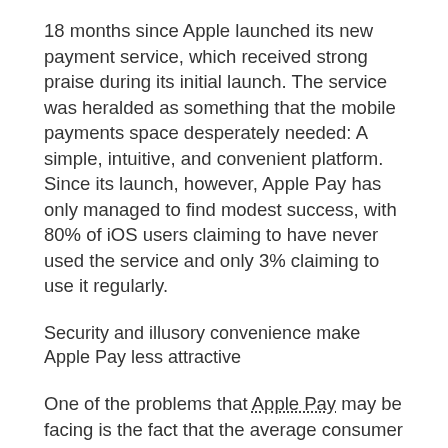18 months since Apple launched its new payment service, which received strong praise during its initial launch. The service was heralded as something that the mobile payments space desperately needed: A simple, intuitive, and convenient platform. Since its launch, however, Apple Pay has only managed to find modest success, with 80% of iOS users claiming to have never used the service and only 3% claiming to use it regularly.
Security and illusory convenience make Apple Pay less attractive
One of the problems that Apple Pay may be facing is the fact that the average consumer does not see such services as any more “mobile” than cash or a credit card. In essence, mobile payments are meant to be more convenient than traditional forms of commerce, but this is not usually the case due to the similarity